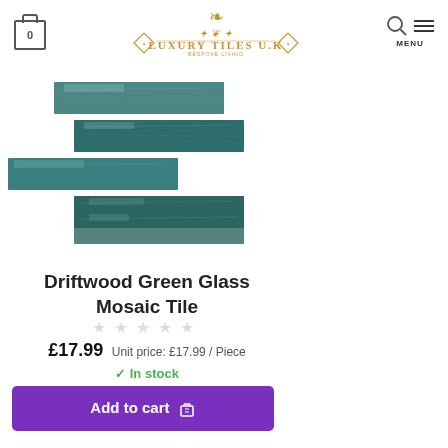0  Luxury Tiles U.K  MENU
[Figure (photo): Stack of teal/green driftwood glass mosaic tiles arranged in an offset/staggered pattern showing elongated rectangular tiles with a weathered wood texture in shades of teal and green]
Driftwood Green Glass Mosaic Tile
£17.99  Unit price: £17.99 / Piece
✓ In stock
Add to cart